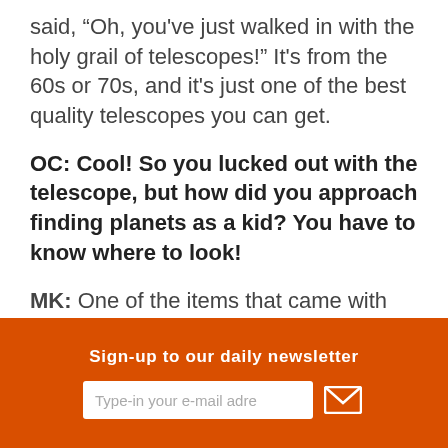said, “Oh, you've just walked in with the holy grail of telescopes!” It's from the 60s or 70s, and it's just one of the best quality telescopes you can get.
OC: Cool! So you lucked out with the telescope, but how did you approach finding planets as a kid? You have to know where to look!
MK: One of the items that came with the telescope was a book—an observer's guide book. The nice thing about astronomy is the
Sign-up to our daily newsletter
Type-in your e-mail adre